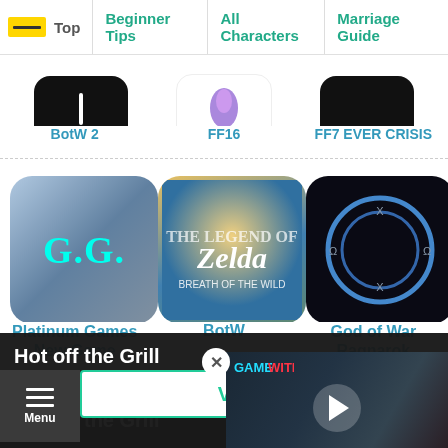Top | Beginner Tips | All Characters | Marriage Guide
[Figure (screenshot): BotW 2 game icon (dark)]
BotW 2
[Figure (screenshot): FF16 game icon (white with purple character)]
FF16
[Figure (screenshot): FF7 EVER CRISIS game icon (dark)]
FF7 EVER CRISIS
[Figure (screenshot): Platinum Games New Game icon with G.G. cyan text on blue-gray background]
Platinum Games
New Game
[Figure (screenshot): The Legend of Zelda Breath of the Wild game icon]
BotW
[Figure (screenshot): God of War Ragnarok icon, dark with circular symbol]
God of War
Ragnarok
View List
Hot off the Grill
GameWith uses cookies and IP a...
By using our site you agree to ou...
policy.